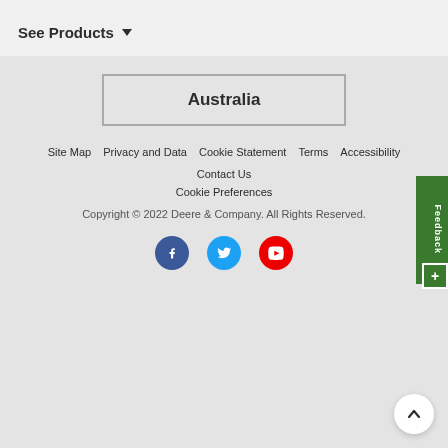See Products
Australia
Site Map  Privacy and Data  Cookie Statement  Terms  Accessibility  Contact Us  Cookie Preferences  Copyright © 2022 Deere & Company. All Rights Reserved.